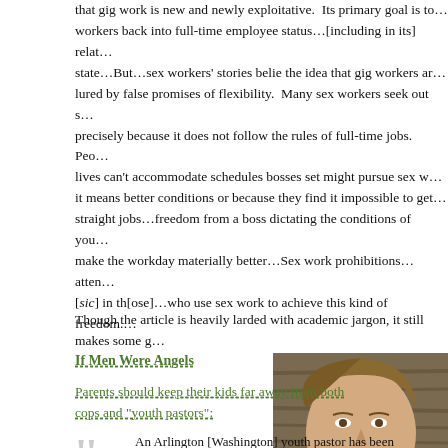that gig work is new and newly exploitative.  Its primary goal is to…workers back into full-time employee status…[including in its] relat…state…But…sex workers' stories belie the idea that gig workers ar…lured by false promises of flexibility.  Many sex workers seek out s…precisely because it does not follow the rules of full-time jobs.  Peo…lives can't accommodate schedules bosses set might pursue sex w…it means better conditions or because they find it impossible to get…straight jobs…freedom from a boss dictating the conditions of you…make the workday materially better…Sex work prohibitions…atten…[sic] in th[ose]…who use sex work to achieve this kind of freedom.
Though the article is heavily larded with academic jargon, it still makes some g…
If Men Were Angels
Parents should keep their kids far away from both cops and "youth pastors":
An Arlington [Washington] youth pastor has been charged with…child rape for…[molesting a 15-year-old] girl…Kendal Kippen…worked at Jake's House Church in 2017 and 2018…[under] his father…the lead